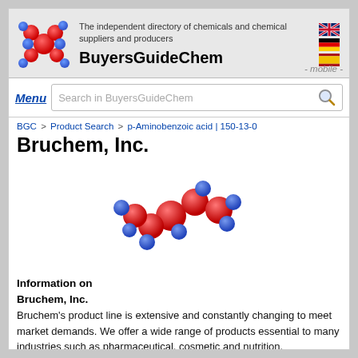[Figure (logo): BuyersGuideChem logo with molecule graphic (red and blue spheres), tagline 'The independent directory of chemicals and chemical suppliers and producers', brand name 'BuyersGuideChem', UK/Germany/Spain flags, and '- mobile -' text]
Menu  Search in BuyersGuideChem
BGC > Product Search > p-Aminobenzoic acid | 150-13-0
Bruchem, Inc.
[Figure (illustration): 3D molecule model with red and blue spheres connected by bonds]
Information on
Bruchem, Inc.
Bruchem's product line is extensive and constantly changing to meet market demands. We offer a wide range of products essential to many industries such as pharmaceutical, cosmetic and nutrition.
Since 1994 our goal has been to be a strong and reliable